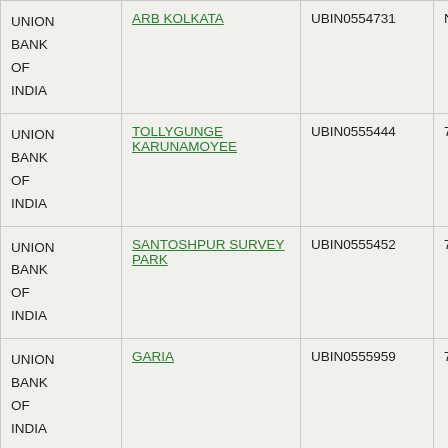| UNION BANK OF INDIA | ARB KOLKATA | UBIN0554731 | NA |
| UNION BANK OF INDIA | TOLLYGUNGE KARUNAMOYEE | UBIN0555444 | 700026041 |
| UNION BANK OF INDIA | SANTOSHPUR SURVEY PARK | UBIN0555452 | 700026042 |
| UNION BANK OF INDIA | GARIA | UBIN0555959 | 700026043 |